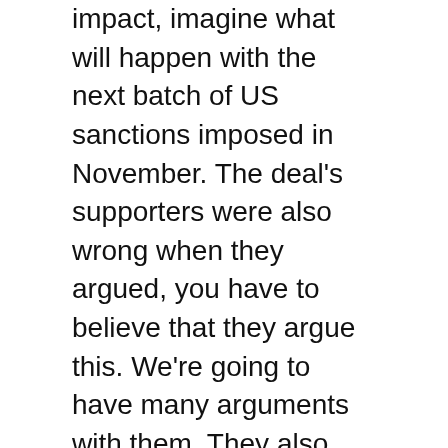impact, imagine what will happen with the next batch of US sanctions imposed in November. The deal's supporters were also wrong when they argued, you have to believe that they argue this. We're going to have many arguments with them. They also argued that restoring sanctions would rally the Iranian people around the regime.
Well, they're definitely rallying, but not around the regime. They're rallying against the regime. They're not chanting Death to America. They're chanting Death to the Dictator. They're not chanting Export the Islamic Revolution. They're chanting Leave Syria! Leave Lebanon! Leave Gaza! Take care of us in Iran!
I listen to these protests. I talk to the Iranian